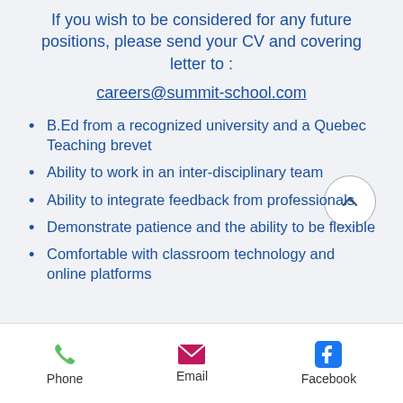If you wish to be considered for any future positions, please send your CV and covering letter to :
careers@summit-school.com
B.Ed from a recognized university and a Quebec Teaching brevet
Ability to work in an inter-disciplinary team
Ability to integrate feedback from professionals
Demonstrate patience and the ability to be flexible
Comfortable with classroom technology and online platforms
Phone  Email  Facebook